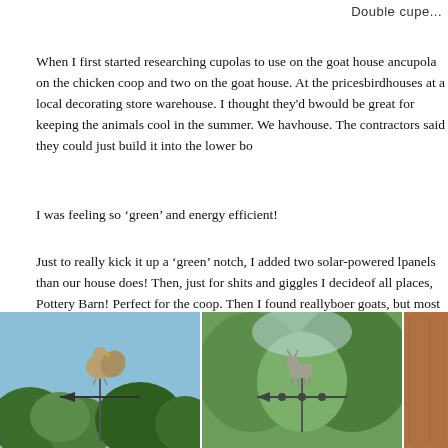Double cupe...
When I first started researching cupolas to use on the goat house and cupola on the chicken coop and two on the goat house. At the prices birdhouses at a local decorating store warehouse. I thought they'd b would be great for keeping the animals cool in the summer. We hav house. The contractors said they could just build it into the lower bo
I was feeling so ‘green’ and energy efficient!
Just to really kick it up a ‘green’ notch, I added two solar-powered l panels than our house does! Then, just for shits and giggles I decide of all places, Pottery Barn! Perfect for the coop. Then I found really boer goats, but most people would not be able to tell the difference.
[Figure (photo): Chicken weathervane against blue sky with trees]
[Figure (photo): Goat weathervane against green tree background]
[Figure (photo): Partial view of wooden structure, brown tones]